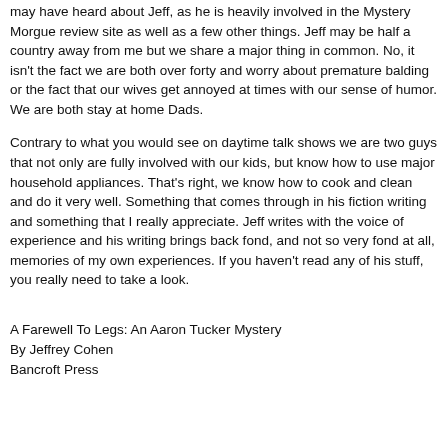may have heard about Jeff, as he is heavily involved in the Mystery Morgue review site as well as a few other things. Jeff may be half a country away from me but we share a major thing in common. No, it isn't the fact we are both over forty and worry about premature balding or the fact that our wives get annoyed at times with our sense of humor. We are both stay at home Dads.
Contrary to what you would see on daytime talk shows we are two guys that not only are fully involved with our kids, but know how to use major household appliances. That's right, we know how to cook and clean and do it very well. Something that comes through in his fiction writing and something that I really appreciate. Jeff writes with the voice of experience and his writing brings back fond, and not so very fond at all, memories of my own experiences. If you haven't read any of his stuff, you really need to take a look.
A Farewell To Legs: An Aaron Tucker Mystery
By Jeffrey Cohen
Bancroft Press